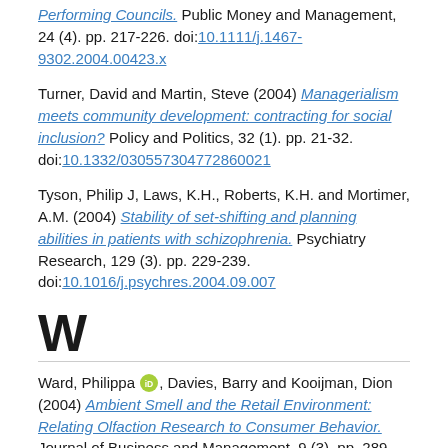Performing Councils. Public Money and Management, 24 (4). pp. 217-226. doi:10.1111/j.1467-9302.2004.00423.x
Turner, David and Martin, Steve (2004) Managerialism meets community development: contracting for social inclusion? Policy and Politics, 32 (1). pp. 21-32. doi:10.1332/030557304772860021
Tyson, Philip J, Laws, K.H., Roberts, K.H. and Mortimer, A.M. (2004) Stability of set-shifting and planning abilities in patients with schizophrenia. Psychiatry Research, 129 (3). pp. 229-239. doi:10.1016/j.psychres.2004.09.007
W
Ward, Philippa [ORCID], Davies, Barry and Kooijman, Dion (2004) Ambient Smell and the Retail Environment: Relating Olfaction Research to Consumer Behavior. Journal of Business and Management, 9 (3). pp. 289-302. doi:10.1080/0267257X.2003.9728228